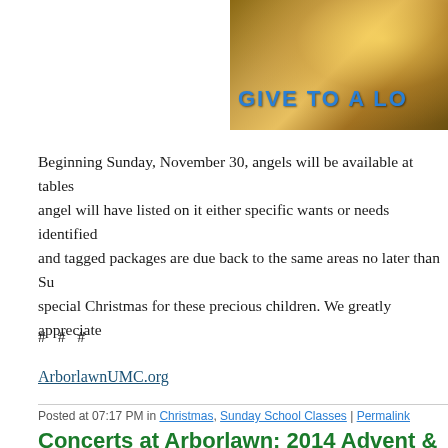[Figure (photo): Banner image showing candles with text 'GIVE TO A LO' partially visible, with a blue bold heading overlay on a warm golden background]
Beginning Sunday, November 30, angels will be available at tables angel will have listed on it either specific wants or needs identified and tagged packages are due back to the same areas no later than Su special Christmas for these precious children. We greatly appreciate
# # #
ArborlawnUMC.org
Posted at 07:17 PM in Christmas, Sunday School Classes | Permalink
Concerts at Arborlawn: 2014 Advent &